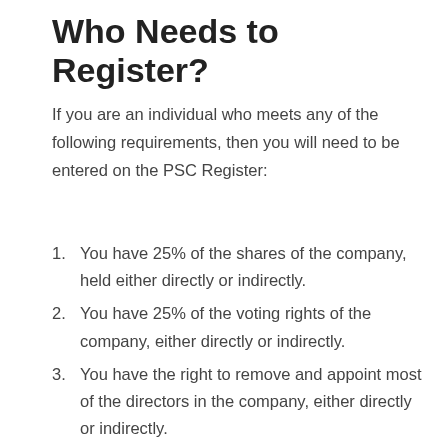Who Needs to Register?
If you are an individual who meets any of the following requirements, then you will need to be entered on the PSC Register:
You have 25% of the shares of the company, held either directly or indirectly.
You have 25% of the voting rights of the company, either directly or indirectly.
You have the right to remove and appoint most of the directors in the company, either directly or indirectly.